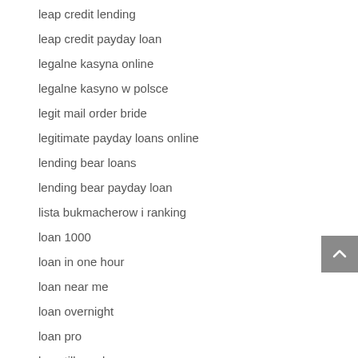leap credit lending
leap credit payday loan
legalne kasyna online
legalne kasyno w polsce
legit mail order bride
legitimate payday loans online
lending bear loans
lending bear payday loan
lista bukmacherow i ranking
loan 1000
loan in one hour
loan near me
loan overnight
loan pro
loan till payday